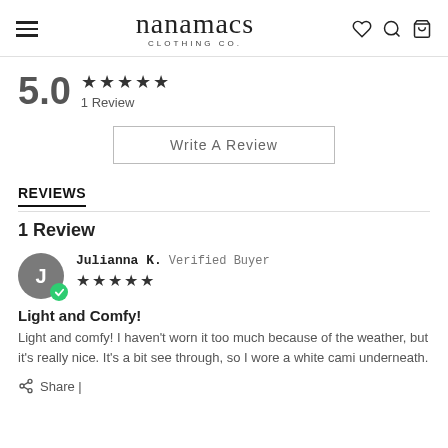nanamacs CLOTHING CO.
5.0 ★★★★★ 1 Review
Write A Review
REVIEWS
1 Review
Julianna K. Verified Buyer ★★★★★
Light and Comfy!
Light and comfy! I haven't worn it too much because of the weather, but it's really nice. It's a bit see through, so I wore a white cami underneath.
Share |